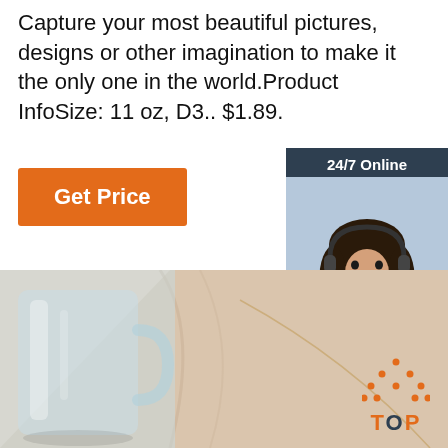Capture your most beautiful pictures, designs or other imagination to make it the only one in the world.Product InfoSize: 11 oz, D3.. $1.89.
[Figure (other): Orange 'Get Price' button]
[Figure (other): 24/7 Online customer service chat widget with photo of woman with headset, 'Click here for free chat!' text, and orange QUOTATION button]
[Figure (photo): Product photo showing clear glass/crystal mug and beige fabric background]
[Figure (other): Orange 'TOP' button with dotted triangle icon for scroll-to-top navigation]